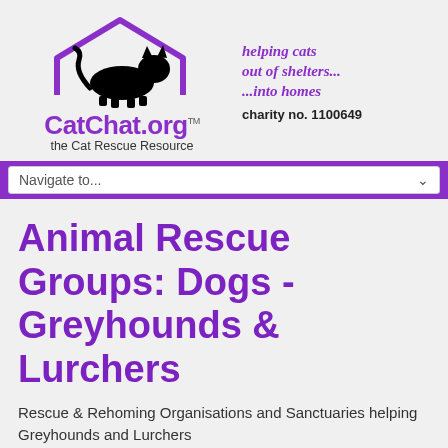[Figure (logo): CatChat.org logo with cat silhouette over a house outline, tagline 'helping cats out of shelters... ...into homes' in purple italic, charity no. 1100649]
Navigate to...
Animal Rescue Groups: Dogs - Greyhounds & Lurchers
Rescue & Rehoming Organisations and Sanctuaries helping Greyhounds and Lurchers
Web Links filter search  20
UK Wide - Forever Hounds Trust
Rescuing and caring for unwanted, abused or abandoned